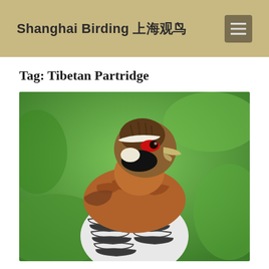Shanghai Birding 上海观鸟
Tag: Tibetan Partridge
[Figure (photo): Close-up photograph of a Tibetan Partridge bird against a green blurred background. The bird has distinctive markings: red eye patch, black throat patch, white supercilium, brown and rufous upperparts, and bold black-and-white barred underparts.]